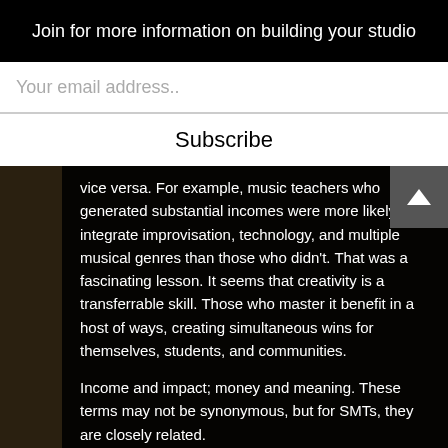Join for more information on building your studio
Your email address..
Subscribe
vice versa. For example, music teachers who generated substantial incomes were more likely to integrate improvisation, technology, and multiple musical genres than those who didn’t. That was a fascinating lesson. It seems that creativity is a transferrable skill. Those who master it benefit in a host of ways, creating simultaneous wins for themselves, students, and communities.
Income and impact; money and meaning. These terms may not be synonymous, but for SMTs, they are closely related.
DAVID CUTLER balances a varied profile as a jazz and classical composer, pianist, educator, arranger, author, speaker, and director of the world’s premier experiential arts entrepreneurship workshop The SAVVY Musician in